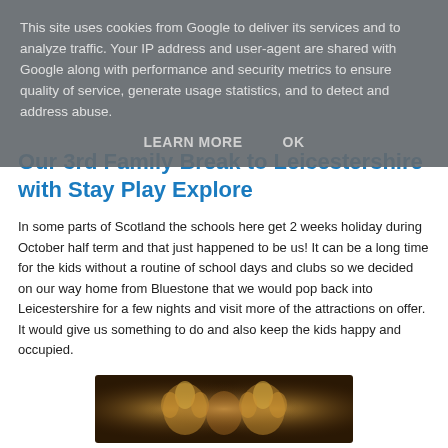This site uses cookies from Google to deliver its services and to analyze traffic. Your IP address and user-agent are shared with Google along with performance and security metrics to ensure quality of service, generate usage statistics, and to detect and address abuse.
LEARN MORE    OK
Our 3rd Family Break to Leicestershire with Stay Play Explore
In some parts of Scotland the schools here get 2 weeks holiday during October half term and that just happened to be us! It can be a long time for the kids without a routine of school days and clubs so we decided on our way home from Bluestone that we would pop back into Leicestershire for a few nights and visit more of the attractions on offer. It would give us something to do and also keep the kids happy and occupied.
[Figure (photo): A dimly lit decorative image showing ornate floral or crown-like patterns glowing in warm golden light against a dark background.]